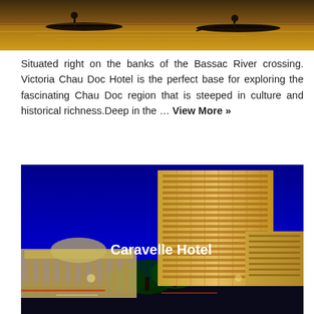[Figure (photo): Boats on the Bassac River at dusk/evening, warm golden water tones]
Situated right on the banks of the Bassac River crossing. Victoria Chau Doc Hotel is the perfect base for exploring the fascinating Chau Doc region that is steeped in culture and historical richness.Deep in the … View More »
[Figure (photo): Night photo of Caravelle Hotel in Ho Chi Minh City, tall illuminated tower building against deep blue night sky with city buildings and trees in foreground]